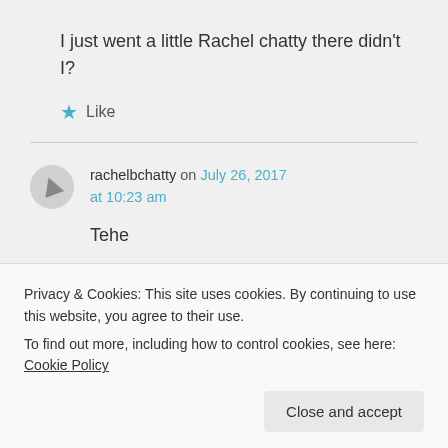I just went a little Rachel chatty there didn't I?
★ Like
rachelbchatty on July 26, 2017 at 10:23 am
Tehe
Privacy & Cookies: This site uses cookies. By continuing to use this website, you agree to their use.
To find out more, including how to control cookies, see here: Cookie Policy
Close and accept